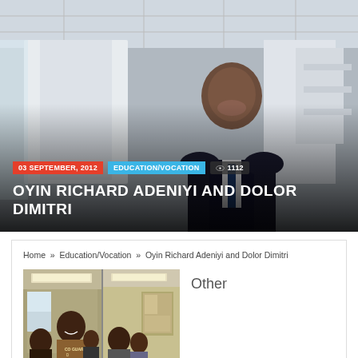[Figure (photo): Hero banner photo of a man in a suit smiling, with overlaid metadata tags and title. Date: 03 SEPTEMBER, 2012. Category: EDUCATION/VOCATION. Views: 1112. Title: OYIN RICHARD ADENIYI AND DOLOR DIMITRI.]
Home » Education/Vocation » Oyin Richard Adeniyi and Dolor Dimitri
[Figure (photo): Classroom photo showing students, some smiling, in a room with fluorescent lighting. A split image showing two scenes side by side.]
Other